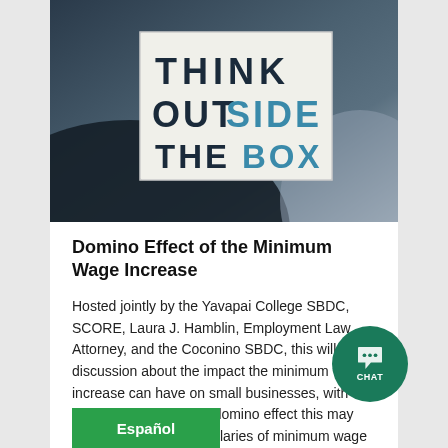[Figure (photo): A lightbox sign reading THINK OUTSIDE THE BOX in dark and teal letters, placed against a dark blurred background]
Domino Effect of the Minimum Wage Increase
Hosted jointly by the Yavapai College SBDC, SCORE, Laura J. Hamblin, Employment Law Attorney, and the Coconino SBDC, this will be a discussion about the impact the minimum wage increase can have on small businesses, with particular focus on the domino effect this may have beyond just the salaries of minimum wage staff.